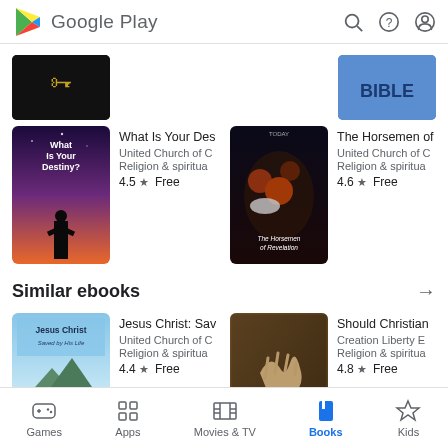Google Play
[Figure (screenshot): Partial book covers from previous row - golden keys book and BIBLE book]
[Figure (screenshot): What Is Your Destiny? book cover - silhouette of person against purple sky]
What Is Your Des
United Church of C
Religion & spiritua
4.5 ★  Free
[Figure (screenshot): The Horsemen of Revelation book cover - dramatic figures]
The Horsemen of
United Church of C
Religion & spiritua
4.6 ★  Free
Similar ebooks
[Figure (screenshot): Jesus Christ: Saved by His Life book cover - mountains and lake]
Jesus Christ: Sav
United Church of C
Religion & spiritua
4.4 ★  Free
[Figure (screenshot): Should Christians book cover - textured brown cover]
Should Christian
Creation Liberty E
Religion & spiritua
4.8 ★  Free
Foundations for
Easter: The Rest
Games  Apps  Movies & TV  Books  Kids